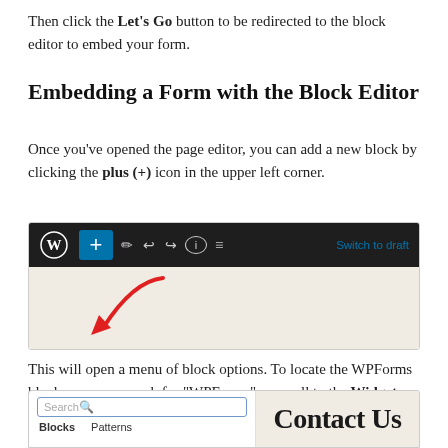Then click the Let's Go button to be redirected to the block editor to embed your form.
Embedding a Form with the Block Editor
Once you've opened the page editor, you can add a new block by clicking the plus (+) icon in the upper left corner.
[Figure (screenshot): WordPress block editor toolbar showing the plus (+) button in the upper left with a red arrow annotation pointing to it, over a beige/tan content area.]
This will open a menu of block options. To locate the WPForms block, you can search for "WPForms" or scroll to the Widgets category. Then click the WPForms block.
[Figure (screenshot): Block inserter panel showing a search box and Blocks/Patterns labels on the left, and a beige area on the right with large bold 'Contact Us' text partially visible.]